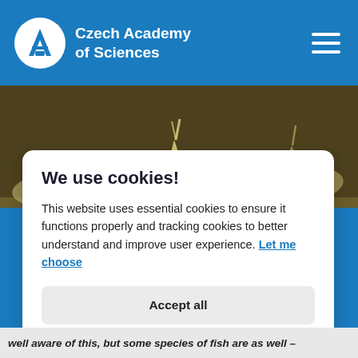Czech Academy of Sciences
[Figure (photo): Underwater photo of spotted catfish (Corydoras) swimming near sandy substrate, multiple fish visible]
We use cookies!
This website uses essential cookies to ensure it functions properly and tracking cookies to better understand and improve user experience. Let me choose
Accept all
Reject all
well aware of this, but some species of fish are as well –